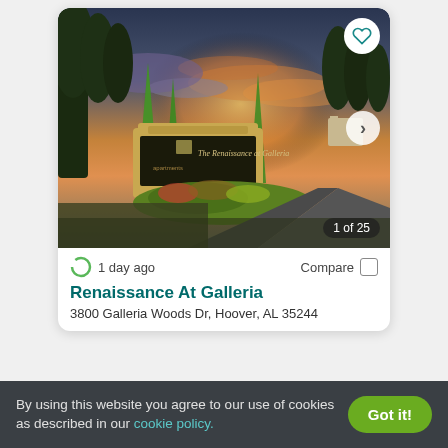[Figure (photo): Entrance to Renaissance At Galleria apartment complex showing monument sign with green banner flags, landscaped flower beds, and a curved driveway at sunset with colorful sky]
1 of 25
1 day ago
Compare
Renaissance At Galleria
3800 Galleria Woods Dr, Hoover, AL 35244
By using this website you agree to our use of cookies as described in our cookie policy.
Got it!